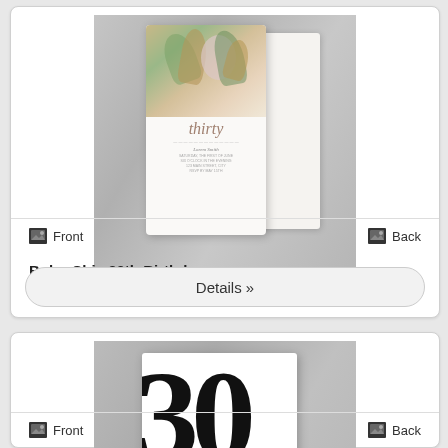[Figure (photo): Boho Chic 30th Birthday invitation card mockup showing front and back of an invitation with floral botanical design on marble background]
Front
Back
Boho Chic 30th Birthday
Details »
[Figure (photo): 30th birthday invitation card mockup showing large bold '30' numeral on white card with event details text]
Front
Back